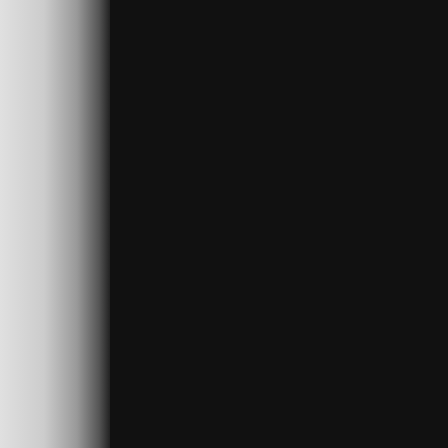[Figure (photo): Dark/black image panel occupying center-left of the page, likely a photograph or screenshot with very low exposure]
I took a bosc
SWITCH (bl
GND (white)
THROUGH (
SWITCHED
12V IN (blue
lights or park
Basically, no
ON and head
87 side, and n
Turn the key
at 87a to the
Took me a wh
Video:
Holy Crap B
I love that na
over zealous
Since the das
I used some s